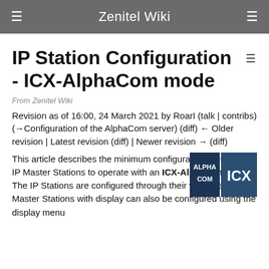Zenitel Wiki
IP Station Configuration - ICX-AlphaCom mode
From Zenitel Wiki
Revision as of 16:00, 24 March 2021 by RoarI (talk | contribs) (→Configuration of the AlphaCom server) (diff) ← Older revision | Latest revision (diff) | Newer revision → (diff)
[Figure (logo): AlphaCom and ICX logo marks side by side on dark blue background]
This article describes the minimum configuration required for IP Master Stations to operate with an ICX-AlphaCom server. The IP Stations are configured through their web interface. IP Master Stations with display can also be configured using the display menu